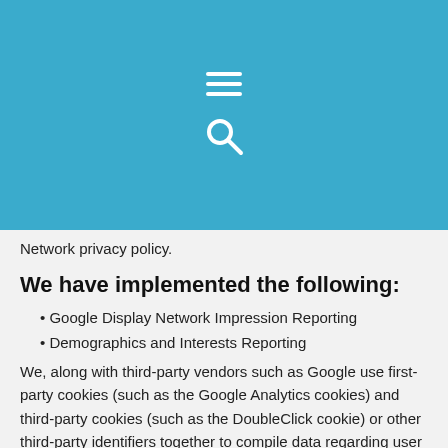[Figure (screenshot): Mobile app header bar in teal/blue color with hamburger menu icon (three horizontal lines) and search icon (magnifying glass) centered on the bar]
Network privacy policy.
We have implemented the following:
Google Display Network Impression Reporting
Demographics and Interests Reporting
We, along with third-party vendors such as Google use first-party cookies (such as the Google Analytics cookies) and third-party cookies (such as the DoubleClick cookie) or other third-party identifiers together to compile data regarding user interactions with ad impressions and other ad service functions as they relate to our website.
Opting out:
You can opt out by visiting the Network Advertising Initiative Opt Out page or by using the Google Analytics Opt Out